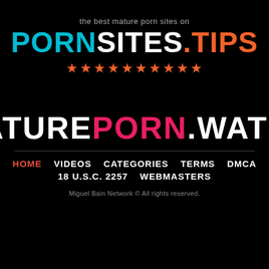the best mature porn sites on
PORNSITES.TIPS
[Figure (other): Ten orange star rating icons]
MATUREPORN.WATCH
HOME  VIDEOS  CATEGORIES  TERMS  DMCA  18 U.S.C. 2257  WEBMASTERS
Miguel Bain Network © All rights reserved.